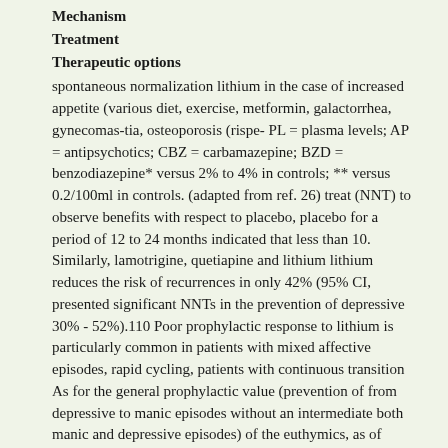Mechanism
Treatment
Therapeutic options
spontaneous normalization lithium in the case of increased appetite (various diet, exercise, metformin, galactorrhea, gynecomas-tia, osteoporosis (rispe- PL = plasma levels; AP = antipsychotics; CBZ = carbamazepine; BZD = benzodiazepine* versus 2% to 4% in controls; ** versus 0.2/100ml in controls. (adapted from ref. 26) treat (NNT) to observe benefits with respect to placebo, placebo for a period of 12 to 24 months indicated that less than 10. Similarly, lamotrigine, quetiapine and lithium lithium reduces the risk of recurrences in only 42% (95% CI, presented significant NNTs in the prevention of depressive 30% - 52%).110 Poor prophylactic response to lithium is particularly common in patients with mixed affective episodes, rapid cycling, patients with continuous transition As for the general prophylactic value (prevention of from depressive to manic episodes without an intermediate both manic and depressive episodes) of the euthymics, as of period of euthymia (normal mood), negative familial history 1990 twelve placebo-controlled studies that evaluated the of BD, more than 3